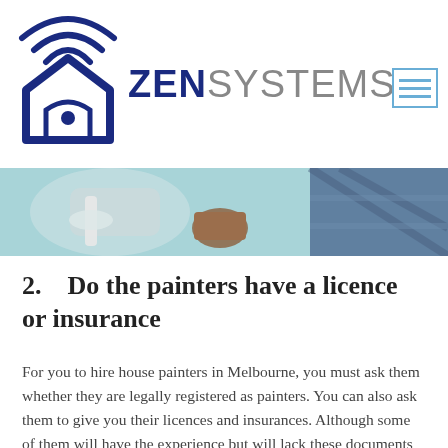[Figure (logo): ZEN SYSTEMS logo with a smart home house icon with wifi signal on top, and the text ZEN in bold dark blue and SYSTEMS in light grey]
[Figure (photo): Close-up photo of house painter using a paint roller on a wall, person wearing plaid blue shirt visible on right side]
2.    Do the painters have a licence or insurance
For you to hire house painters in Melbourne, you must ask them whether they are legally registered as painters. You can also ask them to give you their licences and insurances. Although some of them will have the experience but will lack these documents that